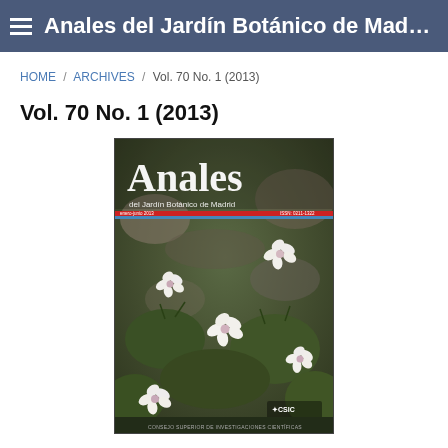Anales del Jardín Botánico de Mad...
HOME / ARCHIVES / Vol. 70 No. 1 (2013)
Vol. 70 No. 1 (2013)
[Figure (photo): Journal cover of Anales del Jardín Botánico de Madrid, Vol. 70 No. 1 (2013), showing white flowers with pink centers growing among rocky terrain with green foliage. The cover displays the journal title 'Anales del Jardín Botánico de Madrid' and publisher logo CSIC (Consejo Superior de Investigaciones Científicas).]